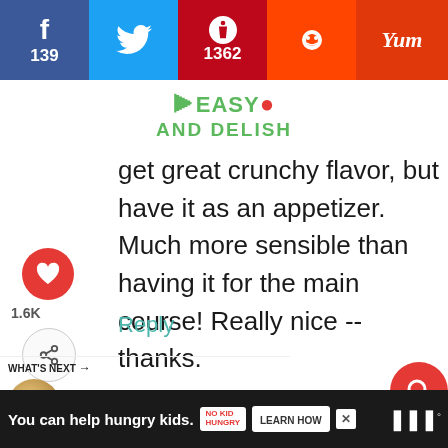f 139  [twitter icon]  p 1362  [reddit icon]  Yum
[Figure (logo): Easy and Delish logo with red tomato graphic, green text]
get great crunchy flavor, but have it as an appetizer. Much more sensible than having it for the main course! Really nice -- thanks.
Reply
WHAT'S NEXT → Homemade Chicken Pot...
You can help hungry kids. NO KID HUNGRY  LEARN HOW